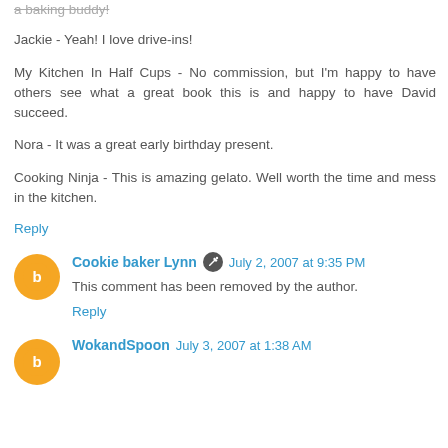a baking buddy!
Jackie - Yeah! I love drive-ins!
My Kitchen In Half Cups - No commission, but I'm happy to have others see what a great book this is and happy to have David succeed.
Nora - It was a great early birthday present.
Cooking Ninja - This is amazing gelato. Well worth the time and mess in the kitchen.
Reply
Cookie baker Lynn July 2, 2007 at 9:35 PM
This comment has been removed by the author.
Reply
WokandSpoon July 3, 2007 at 1:38 AM